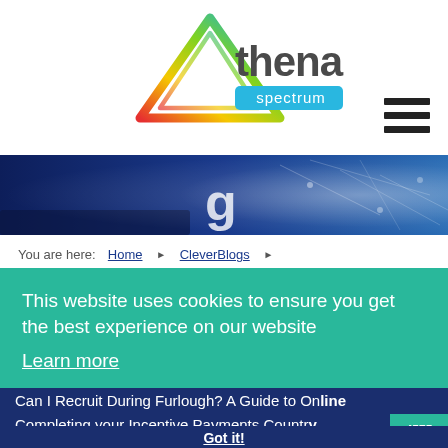[Figure (logo): Athena Spectrum logo — colourful triangle with gradient (red, yellow, green, blue) next to 'athena' in dark grey and 'spectrum' on a blue rounded rectangle]
[Figure (screenshot): Hamburger/menu icon — three horizontal dark lines]
[Figure (photo): Dark blue tech/network hero banner image with light network lines and a partial letter 'g' visible]
You are here:
Home ▶ CleverBlogs ▶
The End of Non-Levy Procurement?
This website uses cookies to ensure you get the best experience on our website
Learn more
Popular posts
Can I Recruit During Furlough? A Guide to Online ...
Completing your Incentive Payments Country ...
Portal
4575
Got it!